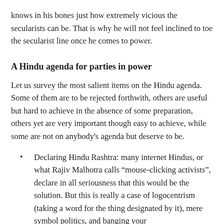knows in his bones just how extremely vicious the secularists can be. That is why he will not feel inclined to toe the secularist line once he comes to power.
A Hindu agenda for parties in power
Let us survey the most salient items on the Hindu agenda. Some of them are to be rejected forthwith, others are useful but hard to achieve in the absence of some preparation, others yet are very important though easy to achieve, while some are not on anybody's agenda but deserve to be.
Declaring Hindu Rashtra: many internet Hindus, or what Rajiv Malhotra calls “mouse-clicking activists”, declare in all seriousness that this would be the solution. But this is really a case of logocentrism (taking a word for the thing designated by it), mere symbol politics, and banging your